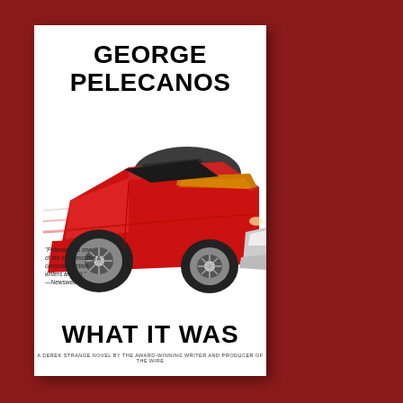[Figure (illustration): Book cover of 'What It Was' by George Pelecanos showing a red 1970s muscle car illustration on a white background, with the author's name at the top and book title at the bottom. A blurb quote appears on the left side.]